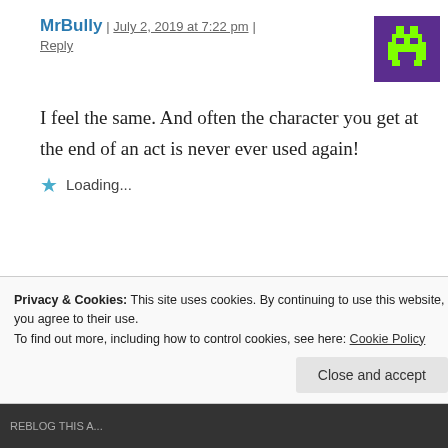MrBully | July 2, 2019 at 7:22 pm | Reply
[Figure (illustration): Pixel art avatar on purple background showing a green alien/robot character]
I feel the same. And often the character you get at the end of an act is never ever used again!
★ Loading...
LucaSpadazzi | July 3, 2019 at 7:29
[Figure (illustration): Thumbnail image showing black and white geometric pattern, possibly Escher-style tessellation]
Privacy & Cookies: This site uses cookies. By continuing to use this website, you agree to their use.
To find out more, including how to control cookies, see here: Cookie Policy
Close and accept